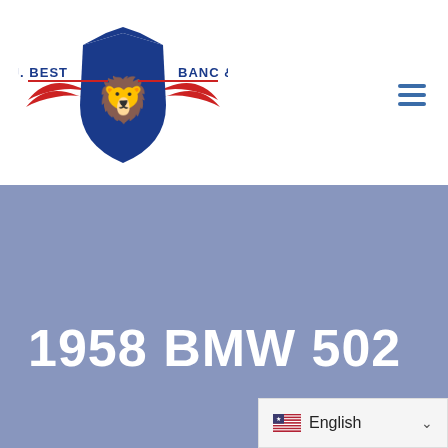[Figure (logo): J.J. Best Banc & Co. logo with blue shield, red wings, and text]
[Figure (other): Hamburger/menu icon with three horizontal blue lines]
1958 BMW 502
English